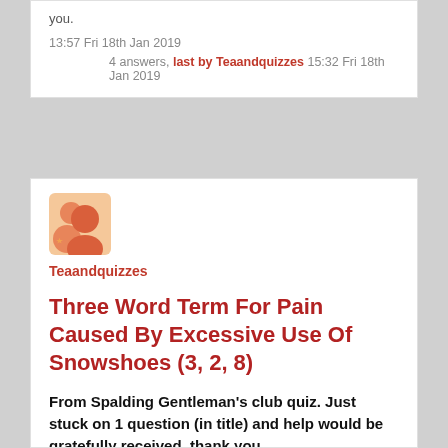you.
13:57 Fri 18th Jan 2019
4 answers, last by Teaandquizzes 15:32 Fri 18th Jan 2019
[Figure (illustration): User avatar icon showing two cartoon figures on an orange/peach background]
Teaandquizzes
Three Word Term For Pain Caused By Excessive Use Of Snowshoes (3, 2, 8)
From Spalding Gentleman's club quiz. Just stuck on 1 question (in title) and help would be gratefully received, thank you.
16:50 Thu 17th Jan 2019